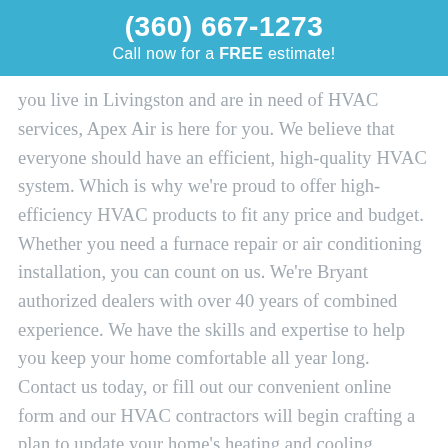(360) 667-1273
Call now for a FREE estimate!
you live in Livingston and are in need of HVAC services, Apex Air is here for you. We believe that everyone should have an efficient, high-quality HVAC system. Which is why we're proud to offer high-efficiency HVAC products to fit any price and budget. Whether you need a furnace repair or air conditioning installation, you can count on us. We're Bryant authorized dealers with over 40 years of combined experience. We have the skills and expertise to help you keep your home comfortable all year long. Contact us today, or fill out our convenient online form and our HVAC contractors will begin crafting a plan to update your home's heating and cooling system.